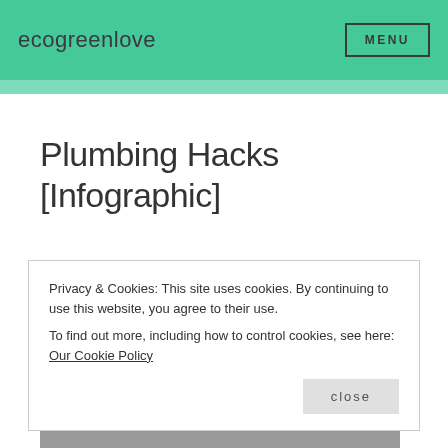ecogreenlove
Plumbing Hacks [Infographic]
Posted in SUSTAINABLE GUIDE •
Privacy & Cookies: This site uses cookies. By continuing to use this website, you agree to their use.
To find out more, including how to control cookies, see here: Our Cookie Policy
close